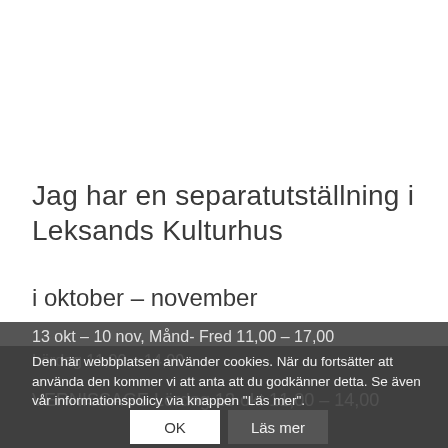Jag har en separatutställning i Leksands Kulturhus
i oktober – november
13 okt – 10 nov, Månd- Fred 11,00 – 17,00
Lördag 11,00 – 14,00
VERNISSAGE Lördag 13 okt 11,00 – 14,00
Den här webbplatsen använder cookies. När du fortsätter att använda den kommer vi att anta att du godkänner detta. Se även vår informationspolicy via knappen "Läs mer".